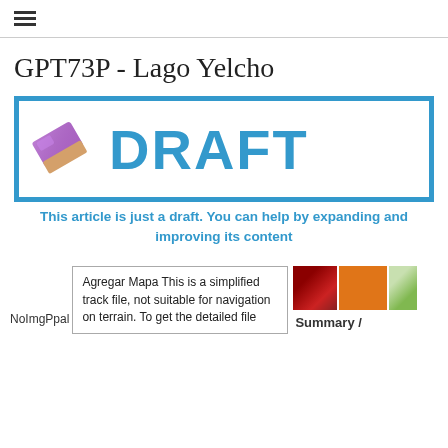≡
GPT73P - Lago Yelcho
[Figure (illustration): DRAFT watermark image: a purple eraser icon on the left, bold blue text 'DRAFT' on the right, all inside a blue-bordered box]
This article is just a draft. You can help by expanding and improving its content
NoImgPpal
Agregar Mapa This is a simplified track file, not suitable for navigation on terrain. To get the detailed file
Summary /